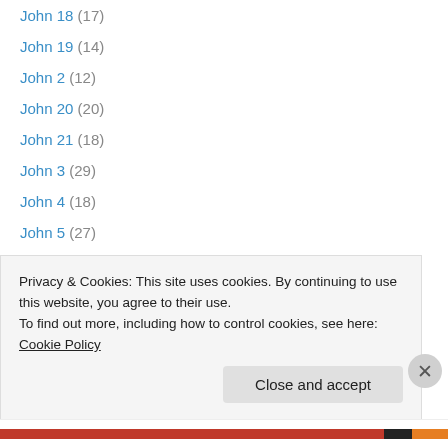John 18 (17)
John 19 (14)
John 2 (12)
John 20 (20)
John 21 (18)
John 3 (29)
John 4 (18)
John 5 (27)
John 6 (36)
John 7 (39)
John 8 (41)
John 9 (5)
Jonah 1 (13)
Privacy & Cookies: This site uses cookies. By continuing to use this website, you agree to their use.
To find out more, including how to control cookies, see here: Cookie Policy
Close and accept